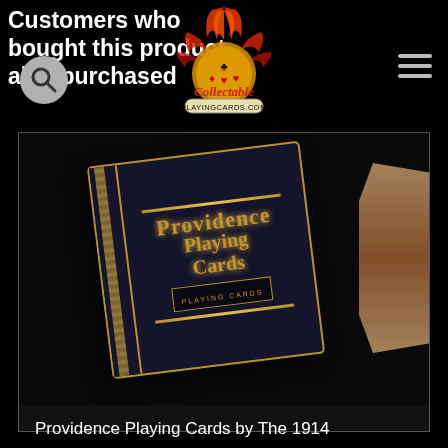Customers who bought this product also purchased
[Figure (logo): Collectable Playing Cards logo with flame design and card suits, URL: PLAYINGCARDS.COM]
[Figure (photo): Close-up photo of Providence Playing Cards deck with dark blue/black cover and gold foil lettering, held by hand]
Providence Playing Cards by The 1914